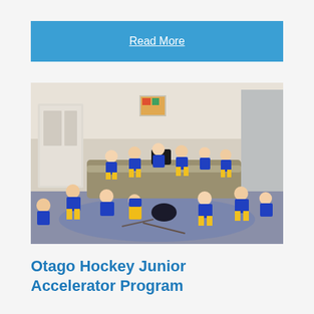Read More
[Figure (photo): Group of young hockey players in blue and yellow uniforms sitting in a circle on the floor and on a couch inside a room, appearing to have a team meeting or huddle.]
Otago Hockey Junior Accelerator Program